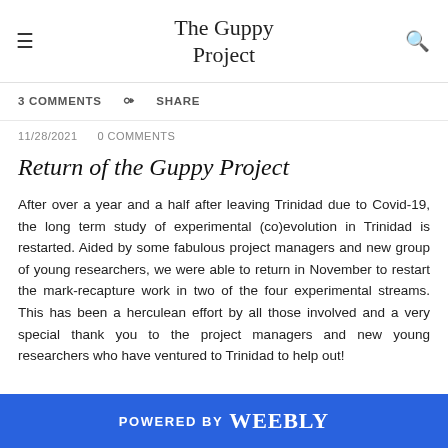The Guppy Project
3 COMMENTS   SHARE
11/28/2021   0 COMMENTS
Return of the Guppy Project
After over a year and a half after leaving Trinidad due to Covid-19, the long term study of experimental (co)evolution in Trinidad is restarted. Aided by some fabulous project managers and new group of young researchers, we were able to return in November to restart the mark-recapture work in two of the four experimental streams. This has been a herculean effort by all those involved and a very special thank you to the project managers and new young researchers who have ventured to Trinidad to help out!
POWERED BY weebly